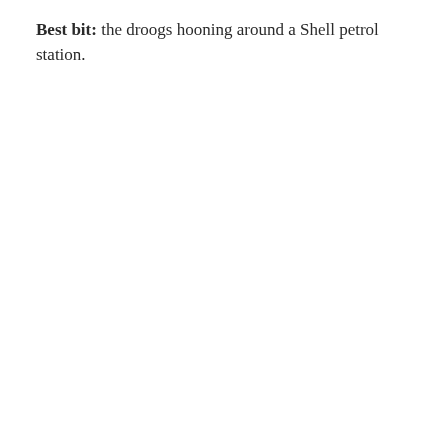Best bit: the droogs hooning around a Shell petrol station.